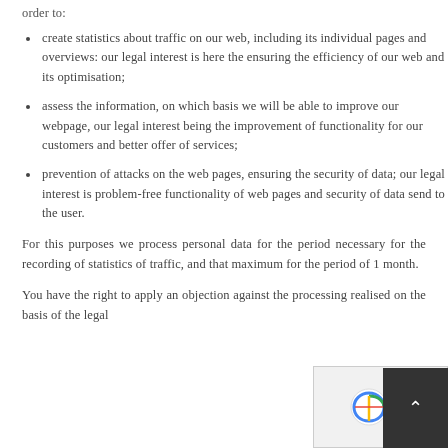order to:
create statistics about traffic on our web, including its individual pages and overviews: our legal interest is here the ensuring the efficiency of our web and its optimisation;
assess the information, on which basis we will be able to improve our webpage, our legal interest being the improvement of functionality for our customers and better offer of services;
prevention of attacks on the web pages, ensuring the security of data; our legal interest is problem-free functionality of web pages and security of data send to the user.
For this purposes we process personal data for the period necessary for the recording of statistics of traffic, and that maximum for the period of 1 month.
You have the right to apply an objection against the processing realised on the basis of the legal